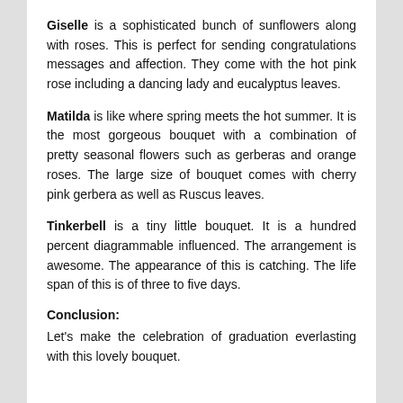Giselle is a sophisticated bunch of sunflowers along with roses. This is perfect for sending congratulations messages and affection. They come with the hot pink rose including a dancing lady and eucalyptus leaves.
Matilda is like where spring meets the hot summer. It is the most gorgeous bouquet with a combination of pretty seasonal flowers such as gerberas and orange roses. The large size of bouquet comes with cherry pink gerbera as well as Ruscus leaves.
Tinkerbell is a tiny little bouquet. It is a hundred percent diagrammable influenced. The arrangement is awesome. The appearance of this is catching. The life span of this is of three to five days.
Conclusion:
Let's make the celebration of graduation everlasting with this lovely bouquet.